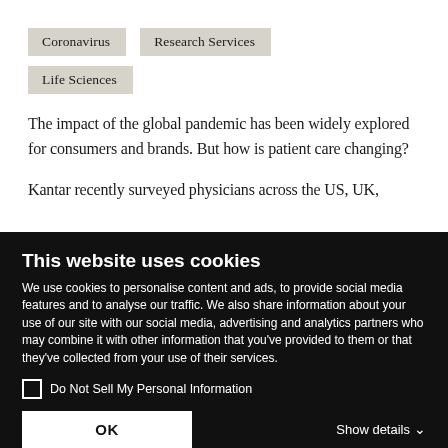Coronavirus
Research Services
Life Sciences
The impact of the global pandemic has been widely explored for consumers and brands. But how is patient care changing?
Kantar recently surveyed physicians across the US, UK,
This website uses cookies
We use cookies to personalise content and ads, to provide social media features and to analyse our traffic. We also share information about your use of our site with our social media, advertising and analytics partners who may combine it with other information that you've provided to them or that they've collected from your use of their services.
Do Not Sell My Personal Information
OK
Show details